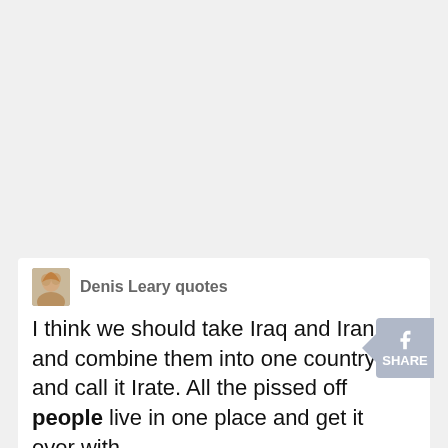Denis Leary quotes
I think we should take Iraq and Iran and combine them into one country and call it Irate. All the pissed off people live in one place and get it over with.
Denis Leary quotes